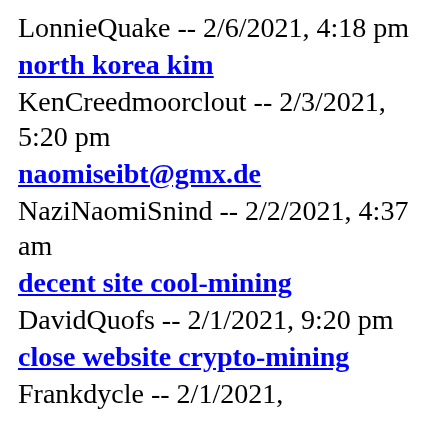LonnieQuake -- 2/6/2021, 4:18 pm
north korea kim
KenCreedmoorclout -- 2/3/2021, 5:20 pm
naomiseibt@gmx.de
NaziNaomiSnind -- 2/2/2021, 4:37 am
decent site cool-mining
DavidQuofs -- 2/1/2021, 9:20 pm
close website crypto-mining
Frankdycle -- 2/1/2021,